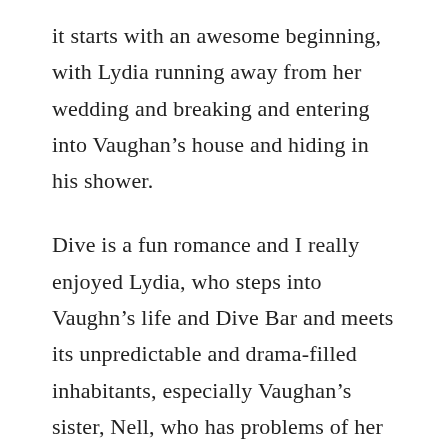it starts with an awesome beginning, with Lydia running away from her wedding and breaking and entering into Vaughan’s house and hiding in his shower.
Dive is a fun romance and I really enjoyed Lydia, who steps into Vaughn’s life and Dive Bar and meets its unpredictable and drama-filled inhabitants, especially Vaughan’s sister, Nell, who has problems of her own. Lydia immediately hits it off with Vaughn and their sexual attraction is lush, full of laughter and full of sexy times. A friendship brews before they get their sexy time on, and even though the timeline is short, it works for